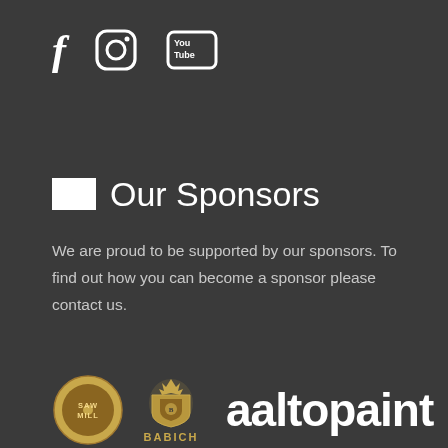[Figure (logo): Social media icons: Facebook (f), Instagram (circle camera icon), YouTube (You Tube rectangle icon)]
Our Sponsors
We are proud to be supported by our sponsors. To find out how you can become a sponsor please contact us.
[Figure (logo): Three sponsor logos: Sawmill circular badge logo, Babich ornate crest logo, and aaltopaint wordmark in white]